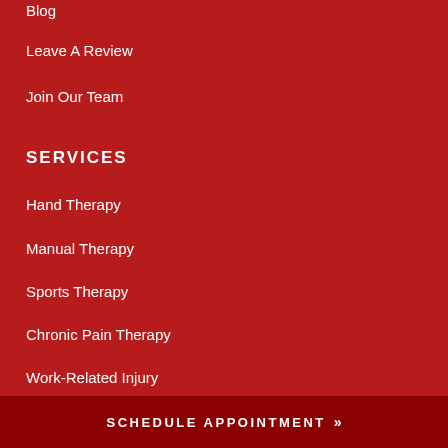Blog
Leave A Review
Join Our Team
SERVICES
Hand Therapy
Manual Therapy
Sports Therapy
Chronic Pain Therapy
Work-Related Injury
SCHEDULE APPOINTMENT »